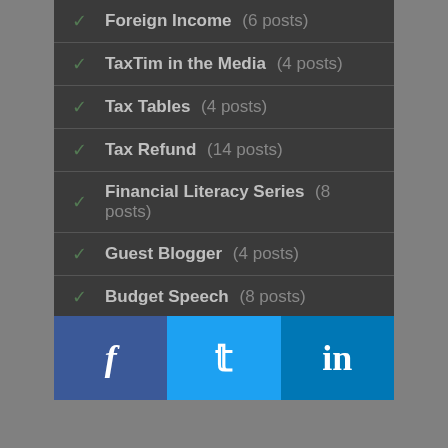Foreign Income (6 posts)
TaxTim in the Media (4 posts)
Tax Tables (4 posts)
Tax Refund (14 posts)
Financial Literacy Series (8 posts)
Guest Blogger (4 posts)
Budget Speech (8 posts)
Top 5 Weekly Questions (26 posts)
News (17 posts)
[Figure (infographic): Social media sharing bar with Facebook, Twitter, and LinkedIn buttons]